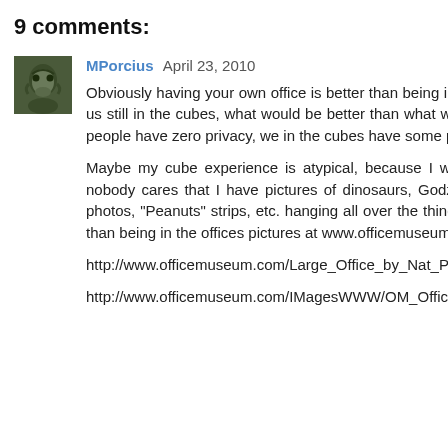9 comments:
[Figure (photo): Small avatar photo of user MPorcius showing a face with green/dark tones]
MPorcius April 23, 2010
Obviously having your own office is better than being in a cube (congrats on that) but for those of us still in the cubes, what would be better than what we have now? In old movies and TV shows people have zero privacy, we in the cubes have some privacy, and a wall to hang things up on.
Maybe my cube experience is atypical, because I work in a laid back academic setting, and nobody cares that I have pictures of dinosaurs, Godzilla, an Aubrey Beardsley print, Man Ray photos, "Peanuts" strips, etc. hanging all over the thing. But being in a cube has got to be better than being in the offices pictures at www.officemuseum.com.
http://www.officemuseum.com/Large_Office_by_Nat_Photographic__Advertising_Co_Chicago.jpg
http://www.officemuseum.com/IMagesWWW/OM_Office_c._1930.JPG